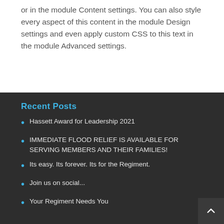or in the module Content settings. You can also style every aspect of this content in the module Design settings and even apply custom CSS to this text in the module Advanced settings.
Recent Posts
Hassett Award for Leadership 2021
IMMEDIATE FLOOD RELIEF IS AVAILABLE FOR SERVING MEMBERS AND THEIR FAMILIES!
Its easy. Its forever. Its for the Regiment.
Join us on social...
Your Regiment Needs You